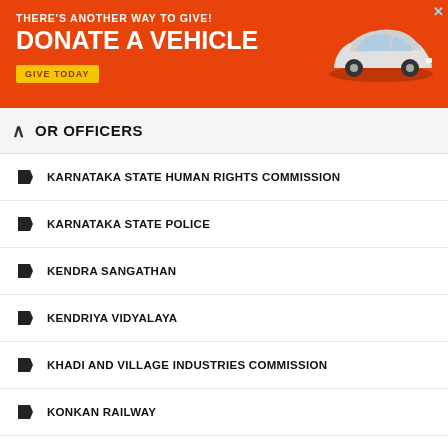[Figure (other): Orange advertisement banner: THERE'S ANOTHER WAY TO GIVE! DONATE A VEHICLE GIVE TODAY with car image]
OR OFFICERS
KARNATAKA STATE HUMAN RIGHTS COMMISSION
KARNATAKA STATE POLICE
KENDRA SANGATHAN
KENDRIYA VIDYALAYA
KHADI AND VILLAGE INDUSTRIES COMMISSION
KONKAN RAILWAY
KONKAN RAILWAY CORPORATION LIMITED
KPSC
KRISHI VIGYAN KENDRA
KRISHI VIKAS SANSTHAN
LABOUR